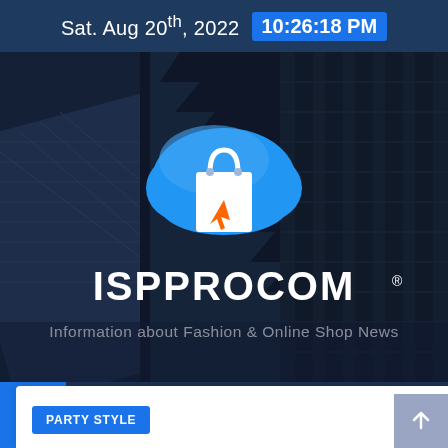Sat. Aug 20th, 2022  10:26:18 PM
[Figure (screenshot): ISPPROCOM website hero banner with building background and shopping bag cloud logo]
ISPPROCOM
Information about Fashion & Online Shop News
[Figure (infographic): Navigation bar with home icon, hamburger menu, and search icon]
PARTY STYLE